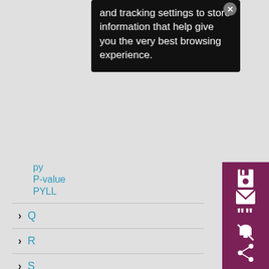and tracking settings to store information that help give you the very best browsing experience.
P-value
PYLL
Q
R
S